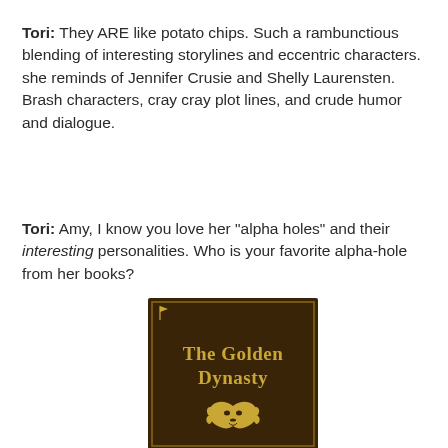Tori: They ARE like potato chips. Such a rambunctious blending of interesting storylines and eccentric characters. she reminds of Jennifer Crusie and Shelly Laurensten. Brash characters, cray cray plot lines, and crude humor and dialogue.
Tori: Amy, I know you love her “alpha holes” and their interesting personalities. Who is your favorite alpha-hole from her books?
[Figure (illustration): Book cover of 'The Golden Dynasty' with dark brown background, gold text title, a small flag icon in upper left, and a golden lion/tiger head emblem near the bottom.]